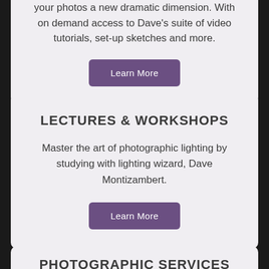your photos a new dramatic dimension. With on demand access to Dave's suite of video tutorials, set-up sketches and more.
Learn More
LECTURES & WORKSHOPS
Master the art of photographic lighting by studying with lighting wizard, Dave Montizambert.
Learn More
PHOTOGRAPHIC SERVICES